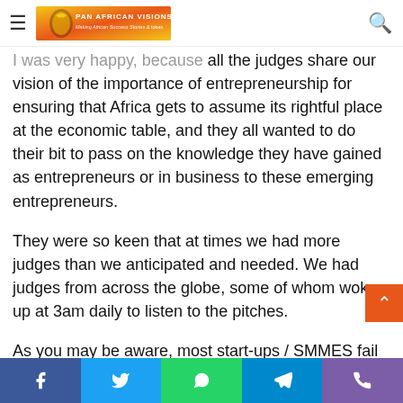Pan African Visions — navigation bar with hamburger menu, logo, and search icon
I was very happy, because all the judges share our vision of the importance of entrepreneurship for ensuring that Africa gets to assume its rightful place at the economic table, and they all wanted to do their bit to pass on the knowledge they have gained as entrepreneurs or in business to these emerging entrepreneurs.
They were so keen that at times we had more judges than we anticipated and needed. We had judges from across the globe, some of whom woke up at 3am daily to listen to the pitches.
As you may be aware, most start-ups / SMMES fail within the first two years, for a myriad of reasons. The judges who participated are aware of the challenges and want to do their bit to reduce this number.
Social share bar: Facebook, Twitter, WhatsApp, Telegram, Phone